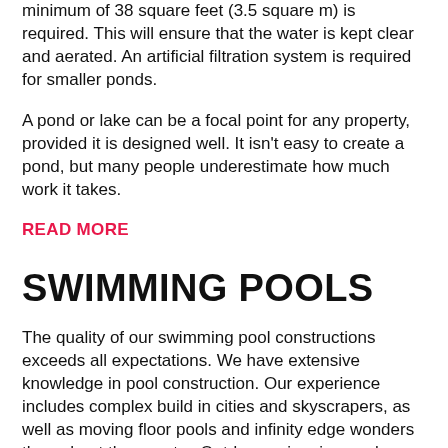minimum of 38 square feet (3.5 square m) is required. This will ensure that the water is kept clear and aerated. An artificial filtration system is required for smaller ponds.
A pond or lake can be a focal point for any property, provided it is designed well. It isn't easy to create a pond, but many people underestimate how much work it takes.
READ MORE
SWIMMING POOLS
The quality of our swimming pool constructions exceeds all expectations. We have extensive knowledge in pool construction. Our experience includes complex build in cities and skyscrapers, as well as moving floor pools and infinity edge wonders throughout the country. Outdoor swimming pools